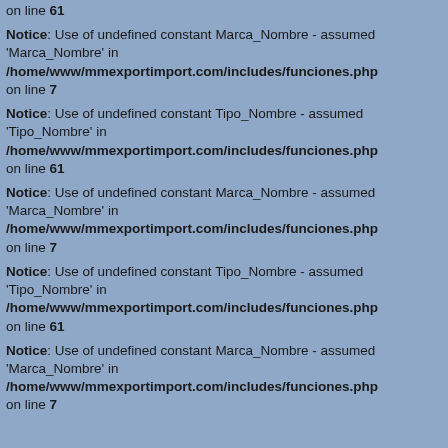on line 61
Notice: Use of undefined constant Marca_Nombre - assumed 'Marca_Nombre' in /home/www/mmexportimport.com/includes/funciones.php on line 7
Notice: Use of undefined constant Tipo_Nombre - assumed 'Tipo_Nombre' in /home/www/mmexportimport.com/includes/funciones.php on line 61
Notice: Use of undefined constant Marca_Nombre - assumed 'Marca_Nombre' in /home/www/mmexportimport.com/includes/funciones.php on line 7
Notice: Use of undefined constant Tipo_Nombre - assumed 'Tipo_Nombre' in /home/www/mmexportimport.com/includes/funciones.php on line 61
Notice: Use of undefined constant Marca_Nombre - assumed 'Marca_Nombre' in /home/www/mmexportimport.com/includes/funciones.php on line 7